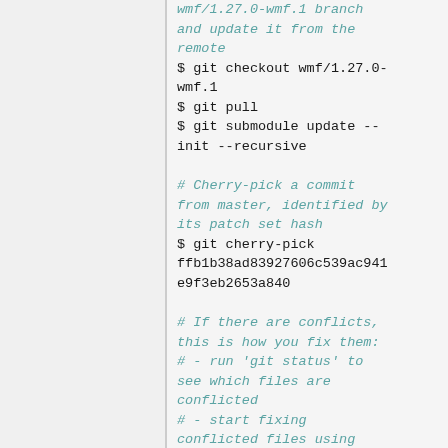wmf/1.27.0-wmf.1 branch and update it from the remote
$ git checkout wmf/1.27.0-wmf.1
$ git pull
$ git submodule update --init --recursive

# Cherry-pick a commit from master, identified by its patch set hash
$ git cherry-pick ffb1b38ad83927606c539ac941e9f3eb2653a840

# If there are conflicts, this is how you fix them:
# - run 'git status' to see which files are conflicted
# - start fixing conflicted files using your favorite editor
# - use 'git add filename'